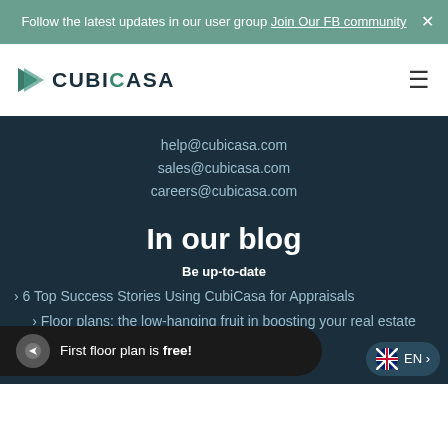Follow the latest updates in our user group Join Our FB community
[Figure (logo): CubiCasa logo with teal arrow icon and bold text CUBICASA]
help@cubicasa.com
sales@cubicasa.com
careers@cubicasa.com
In our blog
Be up-to-date
6 Top Success Stories Using CubiCasa for Appraisals
Floor plans: the low-hanging fruit in boosting your real estate listing strategy
go: A Day in the Life of r MARK G
First floor plan is free!